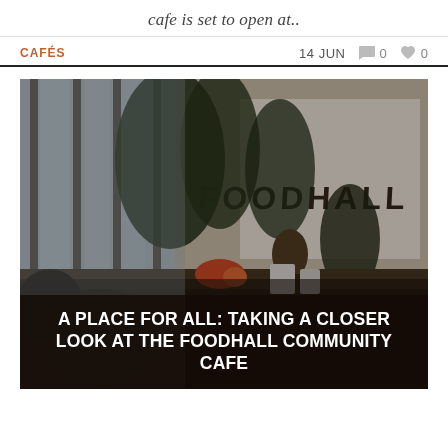cafe is set to open at..
CAFÉS
14 JUN  0  0
[Figure (photo): Interior of a café called Foodhall showing plants, a counter with a barista, warm lighting, and rustic wooden walls with 'FOODHALL' text painted on the wall.]
A PLACE FOR ALL: TAKING A CLOSER LOOK AT THE FOODHALL COMMUNITY CAFE